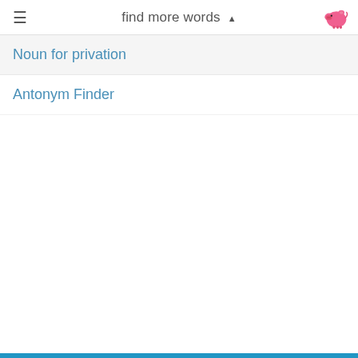find more words ▲
Noun for privation
Antonym Finder